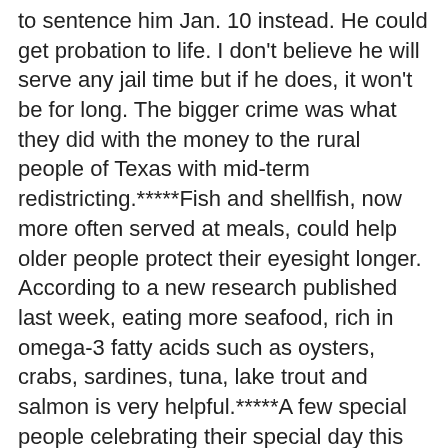to sentence him Jan. 10 instead. He could get probation to life. I don't believe he will serve any jail time but if he does, it won't be for long. The bigger crime was what they did with the money to the rural people of Texas with mid-term redistricting.*****Fish and shellfish, now more often served at meals, could help older people protect their eyesight longer. According to a new research published last week, eating more seafood, rich in omega-3 fatty acids such as oysters, crabs, sardines, tuna, lake trout and salmon is very helpful.*****A few special people celebrating their special day this week. The oldest, longtime friend, Sid Callivet, Jr. will reach age 81. I remember when his dad, Judge Sid was much younger than Sid Jr. is today. We thought the judge was so old didn't we Sid? ***Lucy Hanks, the first lady of Starks, Louisiana, celebrates another one and she's still a fox. ***Our longtime buddy Doug Harrington will be celebrating another one. I recall his birthdays in years past, even surprised him once. The big parties are gone, now it's just a quite day marking a year older. (Editor's note: Doug has since passed away.)***Attorney Tommy Gunn, West Orange